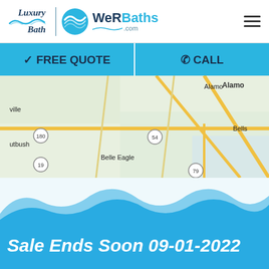[Figure (logo): Luxury Bath | WeRBaths.com logo with wave graphic and hamburger menu]
✓ FREE QUOTE   ☎ CALL
[Figure (map): Google Maps screenshot showing area around Bells, TX including Alamo, Gadsden, Three Way, Fruitvale, Adair, Belle Eagle, Cutbush with route 180, 54, 19, 79]
[Figure (illustration): Wave graphic separator over blue background with text Sale Ends Soon 09-01-2022]
Sale Ends Soon 09-01-2022